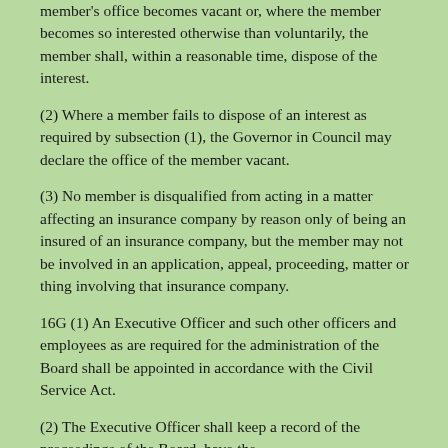member's office becomes vacant or, where the member becomes so interested otherwise than voluntarily, the member shall, within a reasonable time, dispose of the interest.
(2) Where a member fails to dispose of an interest as required by subsection (1), the Governor in Council may declare the office of the member vacant.
(3) No member is disqualified from acting in a matter affecting an insurance company by reason only of being an insured of an insurance company, but the member may not be involved in an application, appeal, proceeding, matter or thing involving that insurance company.
16G (1) An Executive Officer and such other officers and employees as are required for the administration of the Board shall be appointed in accordance with the Civil Service Act.
(2) The Executive Officer shall keep a record of the proceedings of the Board, have the